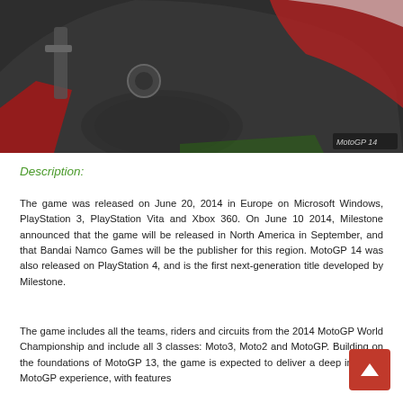[Figure (photo): Close-up photo of a MotoGP motorcycle, showing the rear section with red and white livery, tire, and mechanical components. A small watermark logo is visible in the bottom right corner.]
Description:
The game was released on June 20, 2014 in Europe on Microsoft Windows, PlayStation 3, PlayStation Vita and Xbox 360. On June 10 2014, Milestone announced that the game will be released in North America in September, and that Bandai Namco Games will be the publisher for this region. MotoGP 14 was also released on PlayStation 4, and is the first next-generation title developed by Milestone.
The game includes all the teams, riders and circuits from the 2014 MotoGP World Championship and include all 3 classes: Moto3, Moto2 and MotoGP. Building on the foundations of MotoGP 13, the game is expected to deliver a deep immerse MotoGP experience, with features